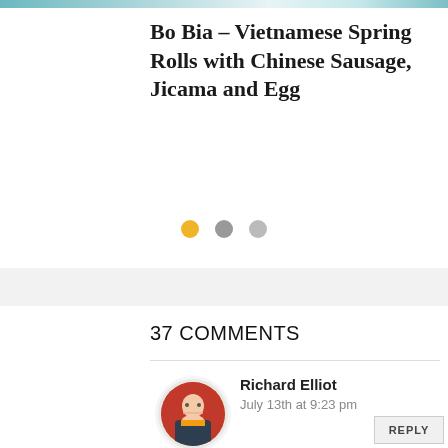[Figure (photo): Top image strip – partial view of a food photo (Vietnamese spring rolls) cropped at the top of the page]
Bo Bia – Vietnamese Spring Rolls with Chinese Sausage, Jicama and Egg
[Figure (other): Three dots navigation indicator: one yellow filled circle and two gray filled circles]
[Figure (other): Gray horizontal bar / advertisement placeholder]
37 COMMENTS
[Figure (photo): Round avatar photo of Richard Elliot – a man with glasses in a suit against a red and gold background]
Richard Elliot
July 13th at 9:23 pm
REPLY
Beautiful photos Amy.
I've never known what XO sauce was, it's great to finally see a recipe. I don't know why, but I thought it